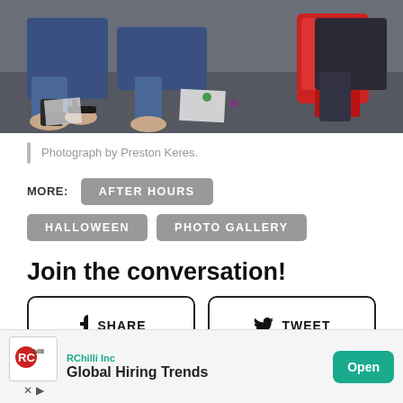[Figure (photo): Photograph showing people sitting on a floor, visible from waist down, with sandals and jeans, some craft/activity materials on the ground, and a red bag.]
Photograph by Preston Keres.
MORE:  AFTER HOURS  HALLOWEEN  PHOTO GALLERY
Join the conversation!
f SHARE   ✓ TWEET
RChilli Inc  Global Hiring Trends  Open